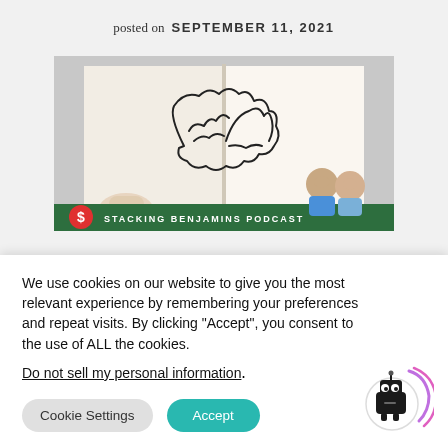posted on  SEPTEMBER 11, 2021
[Figure (photo): Stacking Benjamins Podcast banner image showing an open book with a brain illustration drawn on it, and two hosts visible in the lower right corner, with a green bar at the bottom reading STACKING BENJAMINS PODCAST with a dollar sign logo]
We use cookies on our website to give you the most relevant experience by remembering your preferences and repeat visits. By clicking “Accept”, you consent to the use of ALL the cookies.
Do not sell my personal information.
Cookie Settings
Accept